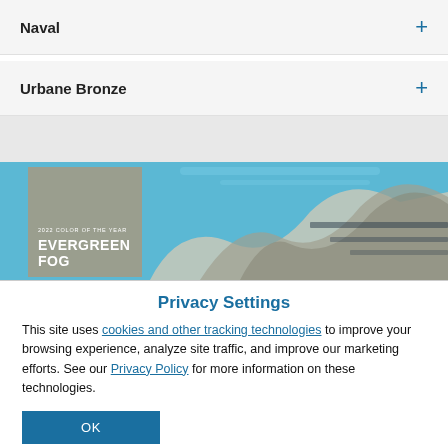Naval +
Urbane Bronze +
[Figure (photo): Paint color card showing '2022 Color of the Year - Evergreen Fog' overlaid on a photo of a modern building with wavy roof against a blue sky]
Privacy Settings
This site uses cookies and other tracking technologies to improve your browsing experience, analyze site traffic, and improve our marketing efforts. See our Privacy Policy for more information on these technologies.
OK